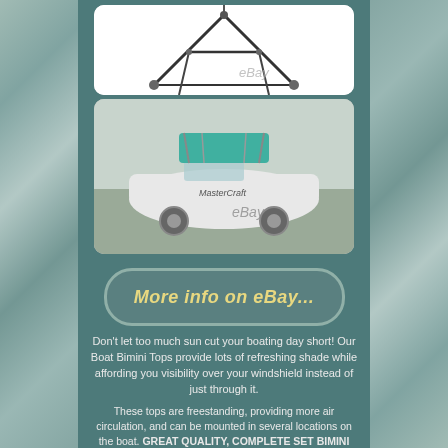[Figure (photo): Bimini top frame/hardware product photo on white background with eBay watermark]
[Figure (photo): MasterCraft boat on trailer with teal/green Bimini top installed, parked outdoors, with eBay watermark]
[Figure (other): More info on eBay... button/badge]
Don't let too much sun cut your boating day short! Our Boat Bimini Tops provide lots of refreshing shade while affording you visibility over your windshield instead of just through it.
These tops are freestanding, providing more air circulation, and can be mounted in several locations on the boat. GREAT QUALITY, COMPLETE SET BIMINI TOP- 6.25 OZ Marine Grade Polyester Material, 3 BOW, ROUND TUBE, MADE TO ORDER IN USA. This item is made-to-